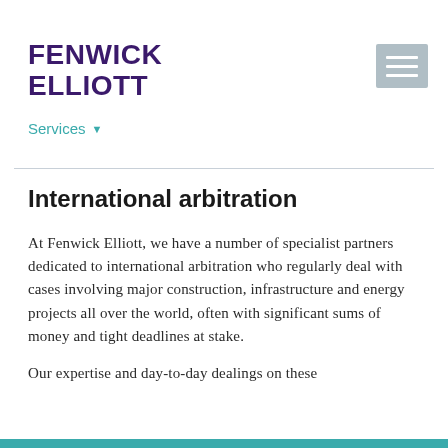[Figure (logo): Fenwick Elliott law firm logo — bold dark purple text reading FENWICK ELLIOTT on two lines]
[Figure (other): Hamburger menu button — grey square with three white horizontal lines]
Services ▼
International arbitration
At Fenwick Elliott, we have a number of specialist partners dedicated to international arbitration who regularly deal with cases involving major construction, infrastructure and energy projects all over the world, often with significant sums of money and tight deadlines at stake.
Our expertise and day-to-day dealings on these